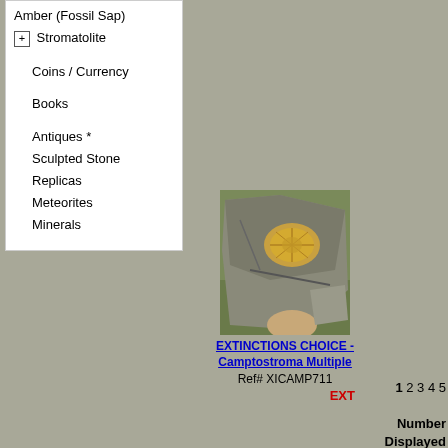Amber (Fossil Sap)
+ Stromatolite
Coins / Currency
Books
Antiques *
Sculpted Stone
Replicas
Meteorites
Minerals
[Figure (photo): Photograph of a Camptostroma fossil in rock matrix, showing oval fossil impression with yellowish coloring against grey stone, held by a hand, outdoors on grass background]
EXTINCTIONS CHOICE - Camptostroma Multiple
Ref# XICAMP711
EXT
1 2 3 4 5
Number Displayed